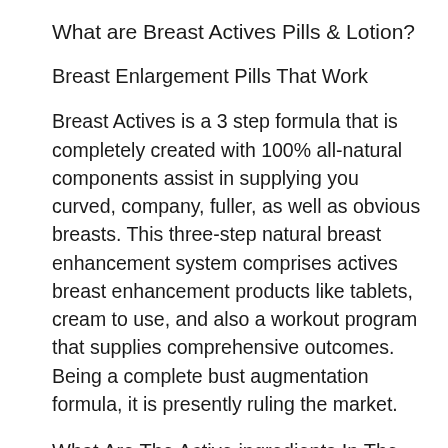What are Breast Actives Pills & Lotion?
Breast Enlargement Pills That Work
Breast Actives is a 3 step formula that is completely created with 100% all-natural components assist in supplying you curved, company, fuller, as well as obvious breasts. This three-step natural breast enhancement system comprises actives breast enhancement products like tablets, cream to use, and also a workout program that supplies comprehensive outcomes. Being a complete bust augmentation formula, it is presently ruling the market.
What Are The Active ingredients In The Bust Actives System?